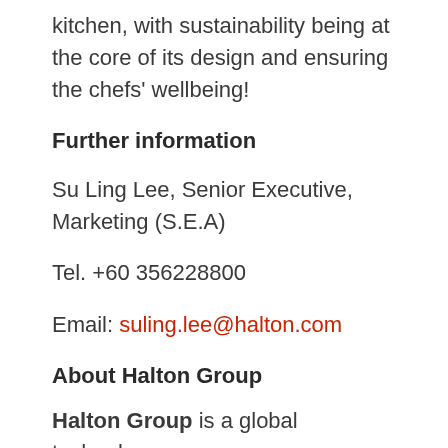kitchen, with sustainability being at the core of its design and ensuring the chefs' wellbeing!
Further information
Su Ling Lee, Senior Executive, Marketing (S.E.A)
Tel. +60 356228800
Email: suling.lee@halton.com
About Halton Group
Halton Group is a global technology